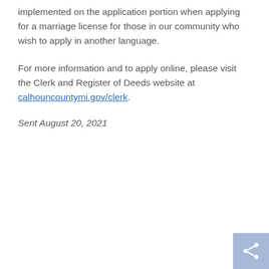implemented on the application portion when applying for a marriage license for those in our community who wish to apply in another language.
For more information and to apply online, please visit the Clerk and Register of Deeds website at calhouncountymi.gov/clerk.
Sent August 20, 2021